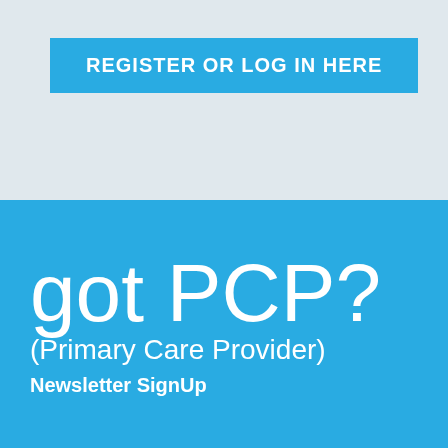REGISTER OR LOG IN HERE
got PCP?
(Primary Care Provider)
Newsletter SignUp